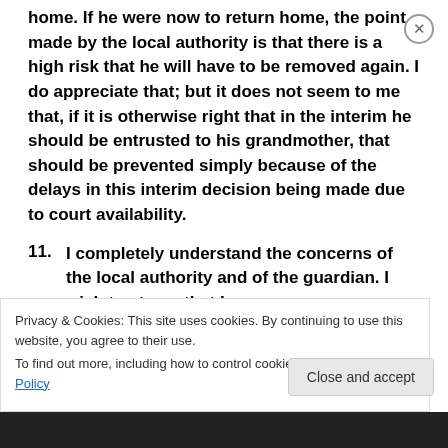home. If he were now to return home, the point made by the local authority is that there is a high risk that he will have to be removed again. I do appreciate that; but it does not seem to me that, if it is otherwise right that in the interim he should be entrusted to his grandmother, that should be prevented simply because of the delays in this interim decision being made due to court availability.
11. I completely understand the concerns of the local authority and of the guardian. I wish to stress that I
Privacy & Cookies: This site uses cookies. By continuing to use this website, you agree to their use.
To find out more, including how to control cookies, see here: Cookie Policy